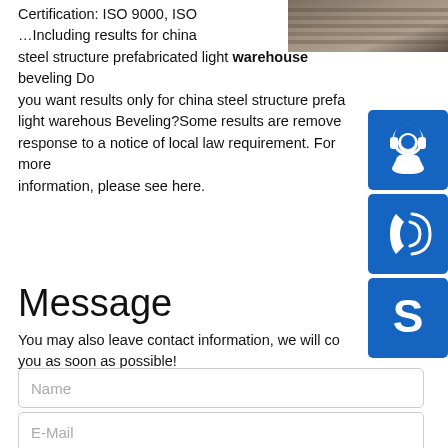[Figure (photo): Photo of stacked steel beams/plates at a warehouse or factory]
Certification: ISO 9000, ISO …Including results for china steel structure prefabricated light warehouse beveling Do you want results only for china steel structure prefabricated light warehous Beveling?Some results are removed in response to a notice of local law requirement. For more information, please see here.
[Figure (illustration): Blue button with headset/customer service icon]
[Figure (illustration): Blue button with phone/call icon]
[Figure (illustration): Blue button with Skype icon]
Message
You may also leave contact information, we will contact you as soon as possible!
Name
E-Mail
Messages